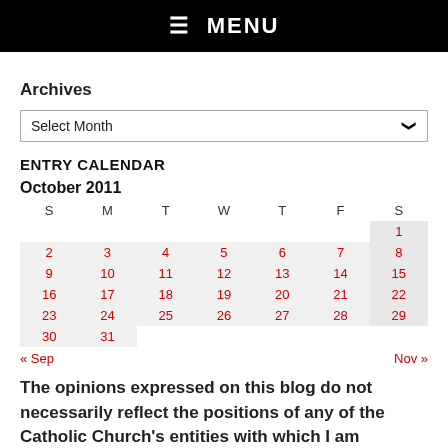☰ MENU
Archives
Select Month
ENTRY CALENDAR
| S | M | T | W | T | F | S |
| --- | --- | --- | --- | --- | --- | --- |
|  |  |  |  |  |  | 1 |
| 2 | 3 | 4 | 5 | 6 | 7 | 8 |
| 9 | 10 | 11 | 12 | 13 | 14 | 15 |
| 16 | 17 | 18 | 19 | 20 | 21 | 22 |
| 23 | 24 | 25 | 26 | 27 | 28 | 29 |
| 30 | 31 |  |  |  |  |  |
« Sep    Nov »
The opinions expressed on this blog do not necessarily reflect the positions of any of the Catholic Church's entities with which I am involved. They are my